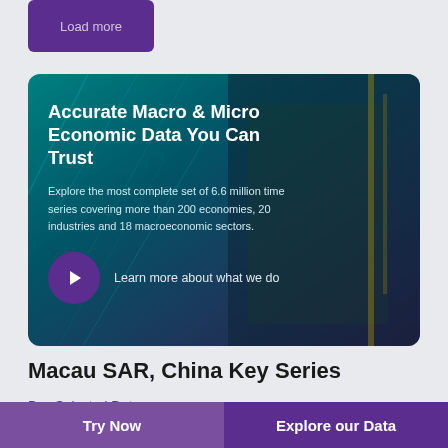Load more
[Figure (screenshot): Promotional banner with teal/purple gradient background showing a person in a hallway. Title reads 'Accurate Macro & Micro Economic Data You Can Trust'. Body text: 'Explore the most complete set of 6.6 million time series covering more than 200 economies, 20 industries and 18 macroeconomic sectors.' Play button with text 'Learn more about what we do'.]
Macau SAR, China Key Series
Buy Selected Data
Try Now
Explore our Data